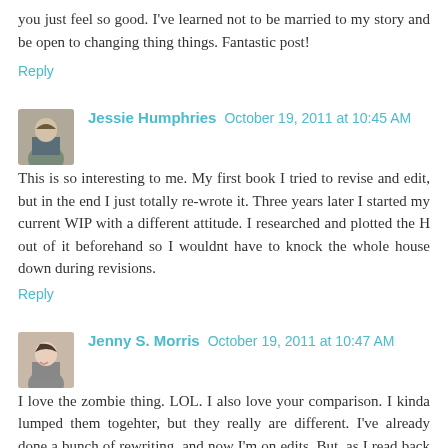you just feel so good. I've learned not to be married to my story and be open to changing thing things. Fantastic post!
Reply
[Figure (photo): Avatar photo of Jessie Humphries]
Jessie Humphries  October 19, 2011 at 10:45 AM
This is so interesting to me. My first book I tried to revise and edit, but in the end I just totally re-wrote it. Three years later I started my current WIP with a different attitude. I researched and plotted the H out of it beforehand so I wouldnt have to knock the whole house down during revisions.
Reply
[Figure (photo): Avatar photo of Jenny S. Morris]
Jenny S. Morris  October 19, 2011 at 10:47 AM
I love the zombie thing. LOL. I also love your comparison. I kinda lumped them togehter, but they really are different. I've already done a bunch of rewriting, and now I'm on edits. But, as I read back through I wonder if a little